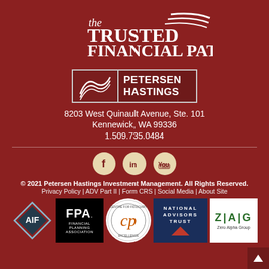[Figure (logo): The Trusted Financial Path logo with swoosh graphic and trademark symbol]
[Figure (logo): Petersen Hastings logo with mountain/river icon inside a bordered box]
8203 West Quinault Avenue, Ste. 101
Kennewick, WA 99336
1.509.735.0484
[Figure (infographic): Social media icons: Facebook, LinkedIn, YouTube in cream-colored circles]
© 2021 Petersen Hastings Investment Management. All Rights Reserved.
Privacy Policy | ADV Part II | Form CRS | Social Media | About Site
[Figure (logo): Row of partner logos: AIF diamond badge, FPA Financial Planning Association black logo, Centre for Fiduciary Excellence circular logo, National Advisors Trust navy logo, ZAG Zero Alpha Group white logo]